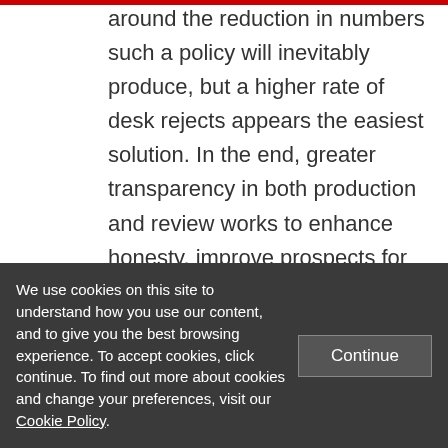around the reduction in numbers such a policy will inevitably produce, but a higher rate of desk rejects appears the easiest solution. In the end, greater transparency in both production and review works to enhance honesty, improve prospects for funding , increase public and elite perceptions of value, and strengthen the scientific endeavor.
Note: This article gives the views of the
We use cookies on this site to understand how you use our content, and to give you the best browsing experience. To accept cookies, click continue. To find out more about cookies and change your preferences, visit our Cookie Policy.